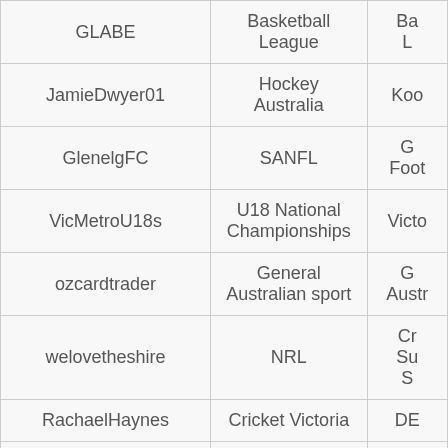| Username | Category | Related |
| --- | --- | --- |
| GLABE | Basketball League | Ba... L... |
| JamieDwyer01 | Hockey Australia | Koo... |
| GlenelgFC | SANFL | G... Foot... |
| VicMetroU18s | U18 National Championships | Victo... |
| ozcardtrader | General Australian sport | G... Austr... |
| welovetheshire | NRL | Cr... Su... S... |
| RachaelHaynes | Cricket Victoria | DE... |
| QldU18s | U18 National Championships | Que... U1... |